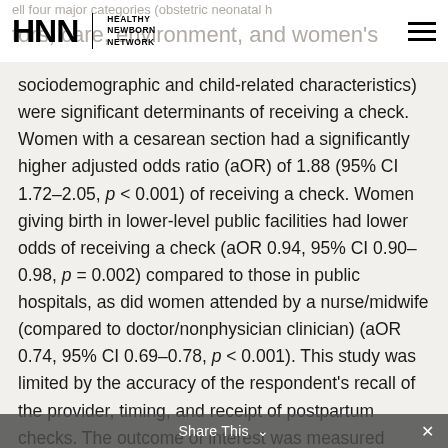HNN | HEALTHY NEWBORN NETWORK
sociodemographic and child-related characteristics) were significant determinants of receiving a check. Women with a cesarean section had a significantly higher adjusted odds ratio (aOR) of 1.88 (95% CI 1.72–2.05, p < 0.001) of receiving a check. Women giving birth in lower-level public facilities had lower odds of receiving a check (aOR 0.94, 95% CI 0.90–0.98, p = 0.002) compared to those in public hospitals, as did women attended by a nurse/midwife (compared to doctor/nonphysician clinician) (aOR 0.74, 95% CI 0.69–0.78, p < 0.001). This study was limited by the accuracy of the respondent's recall of the provider, timing, and receipt of postpartum checks. The outcome of interest was measured using three slightly different question sets across the 33 included countries.